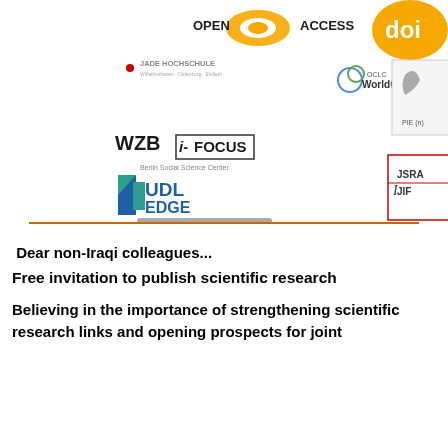[Figure (illustration): Collage of publisher/indexing logos: Open Access, DOI, Jade Hochschule, OCLC WorldCat, Free Cultural Works Approved, WZB i-Focus Berlin Social Science Center, PIE(n), UDL Edge, Hochschule Osnabrück University of Applied Sciences, JSRA JIF, Princeton University Library, CC BY, ISSN International Standard Serial Number, Journals]
Dear non-Iraqi colleagues...
Free invitation to publish scientific research
Believing in the importance of strengthening scientific research links and opening prospects for joint